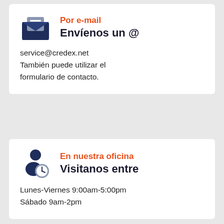Por e-mail
Envíenos un @
service@credex.net
También puede utilizar el formulario de contacto.
En nuestra oficina
Visitanos entre
Lunes-Viernes 9:00am-5:00pm
Sábado 9am-2pm